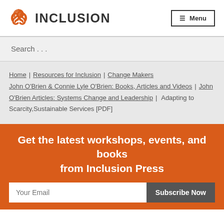INCLUSION Menu
Search . . .
Home  Resources for Inclusion  Change Makers  John O'Brien & Connie Lyle O'Brien: Books, Articles and Videos  John O'Brien Articles: Systems Change and Leadership  Adapting to Scarcity,Sustainable Services [PDF]
Get the latest workshops, events, and books from Inclusion Press
Your Email  Subscribe Now